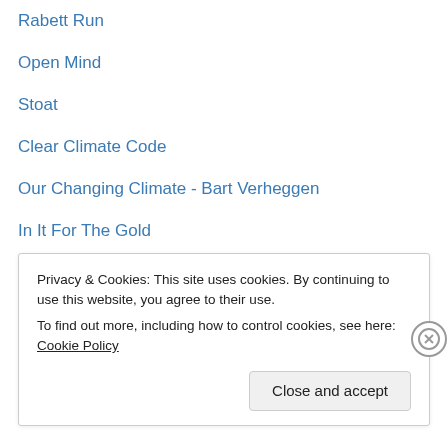Rabett Run
Open Mind
Stoat
Clear Climate Code
Our Changing Climate - Bart Verheggen
In It For The Gold
Idiot Tracker
Greg Laden's Blog
Privacy & Cookies: This site uses cookies. By continuing to use this website, you agree to their use.
To find out more, including how to control cookies, see here: Cookie Policy
Close and accept